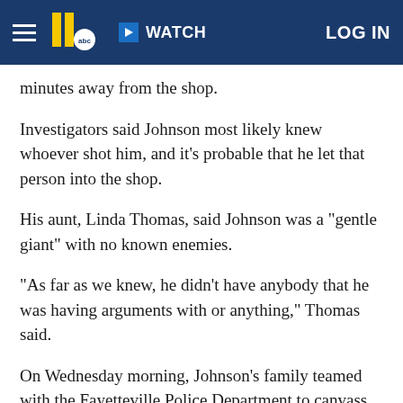WATCH | LOG IN
minutes away from the shop.
Investigators said Johnson most likely knew whoever shot him, and it's probable that he let that person into the shop.
His aunt, Linda Thomas, said Johnson was a "gentle giant" with no known enemies.
"As far as we knew, he didn't have anybody that he was having arguments with or anything," Thomas said.
On Wednesday morning, Johnson's family teamed with the Fayetteville Police Department to canvass for